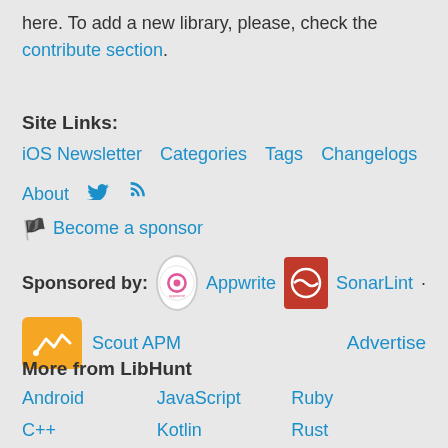here. To add a new library, please, check the contribute section.
Site Links:
iOS Newsletter   Categories   Tags   Changelogs   About   [twitter] [rss]
🏴 Become a sponsor
Sponsored by: Appwrite · SonarLint ·
Scout APM   Advertise
More from LibHunt
Android
JavaScript
Ruby
C++
Kotlin
Rust
Crystal
.NET
Scala
Elixir
Node.js
Self Hosted
Go
PHP
Swift